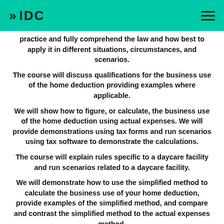IDC
practice and fully comprehend the law and how best to apply it in different situations, circumstances, and scenarios.
The course will discuss qualifications for the business use of the home deduction providing examples where applicable.
We will show how to figure, or calculate, the business use of the home deduction using actual expenses. We will provide demonstrations using tax forms and run scenarios using tax software to demonstrate the calculations.
The course will explain rules specific to a daycare facility and run scenarios related to a daycare facility.
We will demonstrate how to use the simplified method to calculate the business use of your home deduction, provide examples of the simplified method, and compare and contrast the simplified method to the actual expenses method.
The course will also discuss how the business use of your home deduction could affect the sale or exchange of your home and deductions for business furniture and equipment.